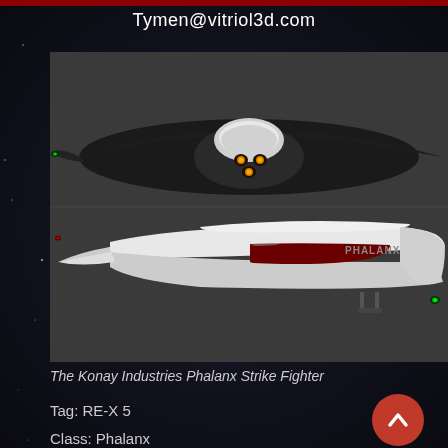Tymen@vitriol3d.com
[Figure (illustration): 3D render of the Konay Industries Phalanx Strike Fighter spacecraft — a sleek, dark-bodied fighter with swept wings shown from two angles: a top/front view showing the cockpit with three amber lights and a bottom/side view showing the white and dark-red striped fuselage with 'PHALANX' text. Rendered against a dark grey/space background.]
The Konay Industries Phalanx Strike Fighter
Tag: RE-X 5
Class: Phalanx